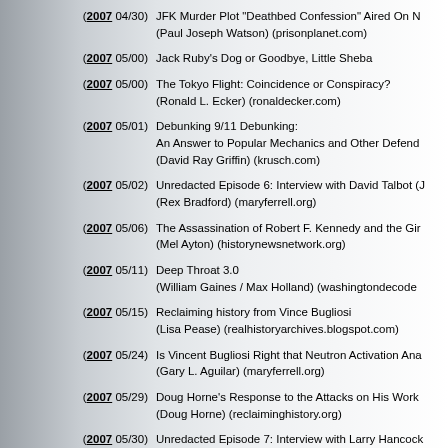(2007 04/30) JFK Murder Plot "Deathbed Confession" Aired On N (Paul Joseph Watson) (prisonplanet.com)
(2007 05/00) Jack Ruby's Dog or Goodbye, Little Sheba
(2007 05/00) The Tokyo Flight: Coincidence or Conspiracy? (Ronald L. Ecker) (ronaldecker.com)
(2007 05/01) Debunking 9/11 Debunking: An Answer to Popular Mechanics and Other Defend (David Ray Griffin) (krusch.com)
(2007 05/02) Unredacted Episode 6: Interview with David Talbot (J (Rex Bradford) (maryferrell.org)
(2007 05/06) The Assassination of Robert F. Kennedy and the Gir (Mel Ayton) (historynewsnetwork.org)
(2007 05/11) Deep Throat 3.0 (William Gaines / Max Holland) (washingtondecode
(2007 05/15) Reclaiming history from Vince Bugliosi (Lisa Pease) (realhistoryarchives.blogspot.com)
(2007 05/24) Is Vincent Bugliosi Right that Neutron Activation Ana (Gary L. Aguilar) (maryferrell.org)
(2007 05/29) Doug Horne's Response to the Attacks on His Work (Doug Horne) (reclaiminghistory.org)
(2007 05/30) Unredacted Episode 7: Interview with Larry Hancock (Rex Bradford) (maryferrell.org)